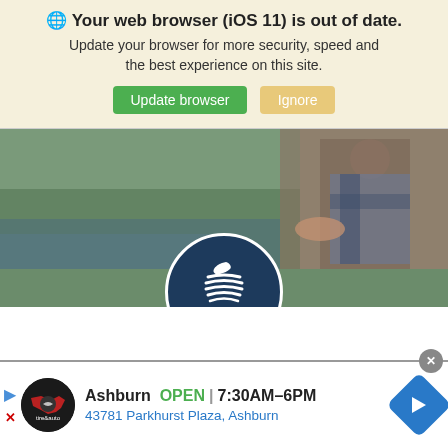🌐 Your web browser (iOS 11) is out of date. Update your browser for more security, speed and the best experience on this site. [Update browser] [Ignore]
[Figure (logo): USAA logo — dark navy circle with stylized eagle/wave icon in white, 'USAA®' text below, overlaid on a hero photo of a person outdoors]
USAA
USAA proudly serves millions of military members and their families with competitive rates on insurance, banking and investment services.
[Figure (screenshot): Advertisement banner: Virginia Tire & Auto logo, 'Ashburn OPEN 7:30AM–6PM', '43781 Parkhurst Plaza, Ashburn', blue navigation arrow icon]